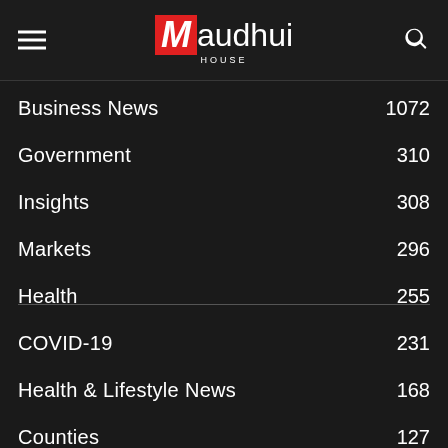Maudhui House
Business News 1072
Government 310
Insights 308
Markets 296
Health 255
COVID-19 231
Health & Lifestyle News 168
Counties 127